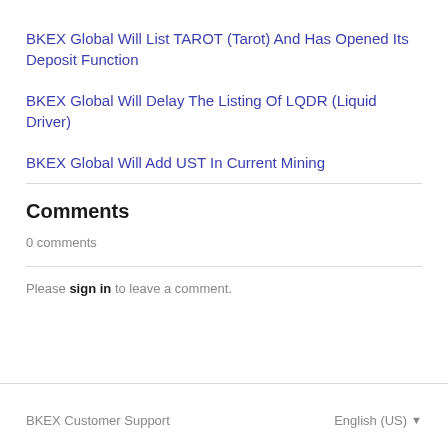BKEX Global Will List TAROT (Tarot) And Has Opened Its Deposit Function
BKEX Global Will Delay The Listing Of LQDR (Liquid Driver)
BKEX Global Will Add UST In Current Mining
Comments
0 comments
Please sign in to leave a comment.
BKEX Customer Support    English (US)